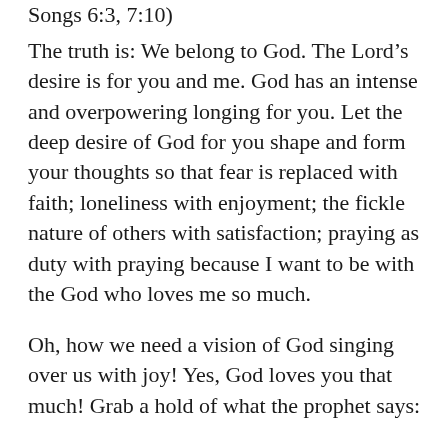Songs 6:3, 7:10)
The truth is: We belong to God. The Lord’s desire is for you and me. God has an intense and overpowering longing for you. Let the deep desire of God for you shape and form your thoughts so that fear is replaced with faith; loneliness with enjoyment; the fickle nature of others with satisfaction; praying as duty with praying because I want to be with the God who loves me so much.
Oh, how we need a vision of God singing over us with joy! Yes, God loves you that much! Grab a hold of what the prophet says: